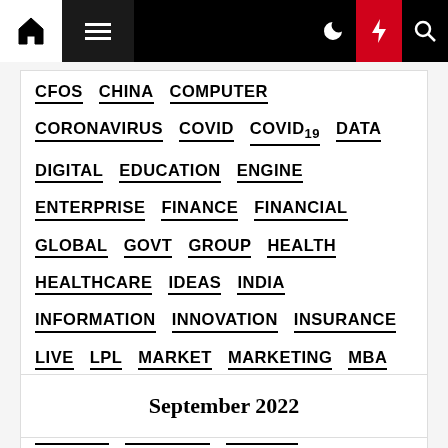Navigation bar with home, menu, moon, bolt, search icons
CFOS
CHINA
COMPUTER
CORONAVIRUS
COVID
COVID19
DATA
DIGITAL
EDUCATION
ENGINE
ENTERPRISE
FINANCE
FINANCIAL
GLOBAL
GOVT
GROUP
HEALTH
HEALTHCARE
IDEAS
INDIA
INFORMATION
INNOVATION
INSURANCE
LIVE
LPL
MARKET
MARKETING
MBA
MOVE
PANDEMIC
PLC
RESEARCH
SCHOOL
SCHOOLS
SEARCH
SERVICES
TECHNOLOGY
UK
VACCINE
WEEK
September 2022